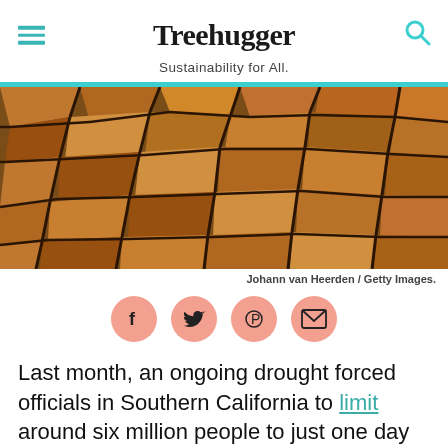Treehugger — Sustainability for All.
[Figure (photo): Close-up photo of cracked, dry earth showing deep fissures in dried mud/soil, with warm orange-brown tones suggesting severe drought conditions.]
Johann van Heerden / Getty Images.
[Figure (infographic): Four social media sharing icons (Facebook, Twitter, Pinterest, Email) displayed as dark icons on salmon/coral circular backgrounds.]
Last month, an ongoing drought forced officials in Southern California to limit around six million people to just one day of outdoor water use a week this summe